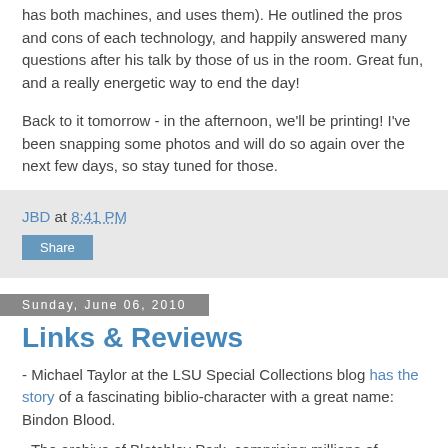has both machines, and uses them). He outlined the pros and cons of each technology, and happily answered many questions after his talk by those of us in the room. Great fun, and a really energetic way to end the day!
Back to it tomorrow - in the afternoon, we'll be printing! I've been snapping some photos and will do so again over the next few days, so stay tuned for those.
JBD at 8:41 PM
Share
Sunday, June 06, 2010
Links & Reviews
- Michael Taylor at the LSU Special Collections blog has the story of a fascinating biblio-character with a great name: Bindon Blood.
- The archive of Bletchley Park, comprising millions of